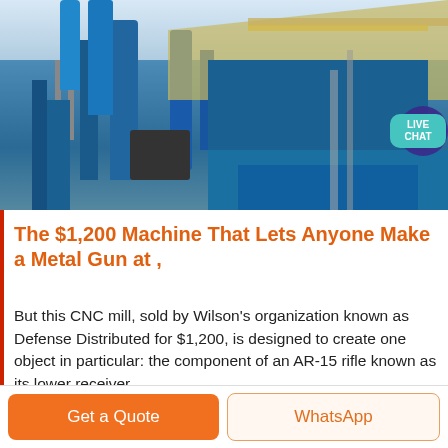[Figure (photo): Industrial machinery — large blue CNC mill or mining/processing equipment with blue pipes, steel scaffolding, and multi-level structures against a grey sky.]
The $1,200 Machine That Lets Anyone Make a Metal Gun at ,
But this CNC mill, sold by Wilson's organization known as Defense Distributed for $1,200, is designed to create one object in particular: the component of an AR-15 rifle known as its lower receiver
Get a Quote
WhatsApp